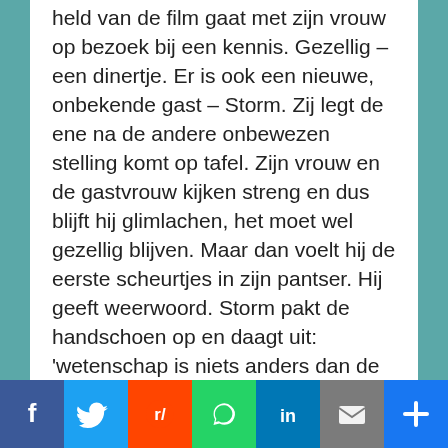held van de film gaat met zijn vrouw op bezoek bij een kennis. Gezellig – een dinertje. Er is ook een nieuwe, onbekende gast – Storm. Zij legt de ene na de andere onbewezen stelling komt op tafel. Zijn vrouw en de gastvrouw kijken streng en dus blijft hij glimlachen, het moet wel gezellig blijven. Maar dan voelt hij de eerste scheurtjes in zijn pantser. Hij geeft weerwoord. Storm pakt de handschoen op en daagt uit: 'wetenschap is niets anders dan de manier waarop we getraind zijn om naar de werkelijkheid te kijken. Het verklaart niets over de belangrijkste zaken in het leven, zoals liefde, spiritualiteit en aura's', vraagt ze om erkenning. Vanaf dat moment zijn de messen geslepen. Geslaagd dinertje of niet?
Hieronder de animatiefilm. Daaronder een opvoering van het gedicht bij Elizabeth Hall in 2008 – ook zeer fraai. En daarna de tekst van het gedicht